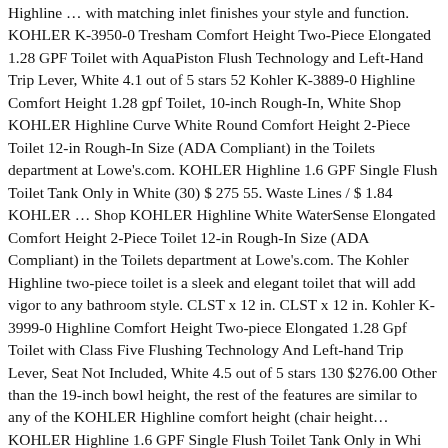Highline … with matching inlet finishes your style and function. KOHLER K-3950-0 Tresham Comfort Height Two-Piece Elongated 1.28 GPF Toilet with AquaPiston Flush Technology and Left-Hand Trip Lever, White 4.1 out of 5 stars 52 Kohler K-3889-0 Highline Comfort Height 1.28 gpf Toilet, 10-inch Rough-In, White Shop KOHLER Highline Curve White Round Comfort Height 2-Piece Toilet 12-in Rough-In Size (ADA Compliant) in the Toilets department at Lowe's.com. KOHLER Highline 1.6 GPF Single Flush Toilet Tank Only in White (30) $ 275 55. Waste Lines / $ 1.84 KOHLER … Shop KOHLER Highline White WaterSense Elongated Comfort Height 2-Piece Toilet 12-in Rough-In Size (ADA Compliant) in the Toilets department at Lowe's.com. The Kohler Highline two-piece toilet is a sleek and elegant toilet that will add vigor to any bathroom style. CLST x 12 in. CLST x 12 in. Kohler K-3999-0 Highline Comfort Height Two-piece Elongated 1.28 Gpf Toilet with Class Five Flushing Technology And Left-hand Trip Lever, Seat Not Included, White 4.5 out of 5 stars 130 $276.00 Other than the 19-inch bowl height, the rest of the features are similar to any of the KOHLER Highline comfort height (chair height… KOHLER Highline 1.6 GPF Single Flush Toilet Tank Only in White…